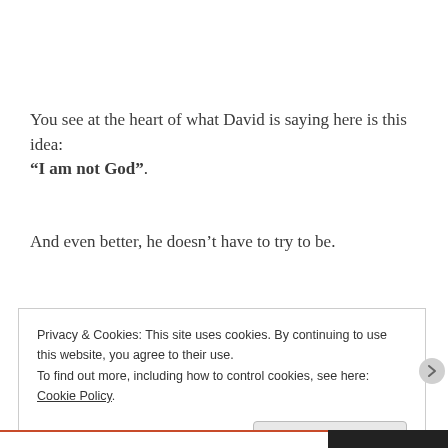You see at the heart of what David is saying here is this idea: “I am not God”.
And even better, he doesn’t have to try to be.
Privacy & Cookies: This site uses cookies. By continuing to use this website, you agree to their use. To find out more, including how to control cookies, see here: Cookie Policy
Close and accept